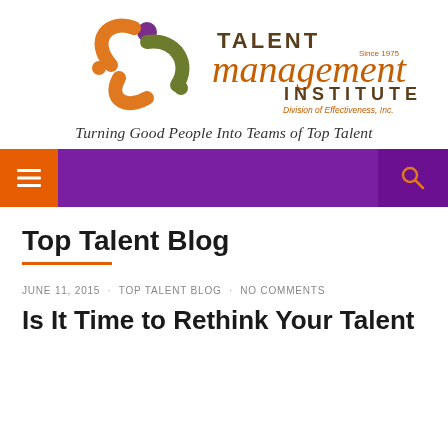[Figure (logo): Talent Management Institute logo with colorful swirl icon and text: TALENT management INSTITUTE, Division of Effectiveness, Inc., Since 1975]
Turning Good People Into Teams of Top Talent
[Figure (screenshot): Purple navigation bar with orange hamburger menu button on left and search icon on right]
Top Talent Blog
JUNE 11, 2015 · TOP TALENT BLOG · NO COMMENTS
Is It Time to Rethink Your Talent